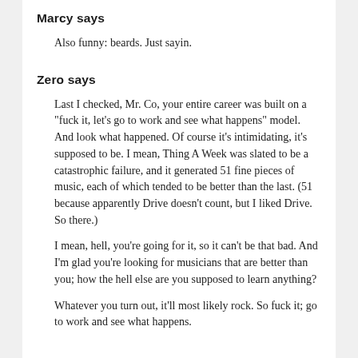Marcy says
Also funny: beards. Just sayin.
Zero says
Last I checked, Mr. Co, your entire career was built on a "fuck it, let's go to work and see what happens" model. And look what happened. Of course it's intimidating, it's supposed to be. I mean, Thing A Week was slated to be a catastrophic failure, and it generated 51 fine pieces of music, each of which tended to be better than the last. (51 because apparently Drive doesn't count, but I liked Drive. So there.)
I mean, hell, you're going for it, so it can't be that bad. And I'm glad you're looking for musicians that are better than you; how the hell else are you supposed to learn anything?
Whatever you turn out, it'll most likely rock. So fuck it; go to work and see what happens.